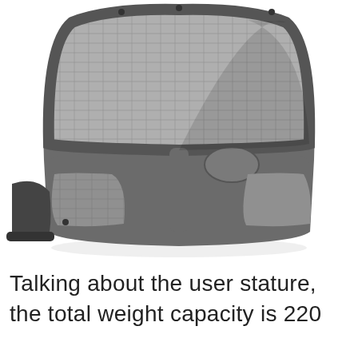[Figure (photo): Close-up rear view of an ergonomic mesh office chair back, showing the gray plastic frame with mesh panels and a central adjustment knob/mechanism, photographed against a white background.]
Talking about the user stature, the total weight capacity is 220